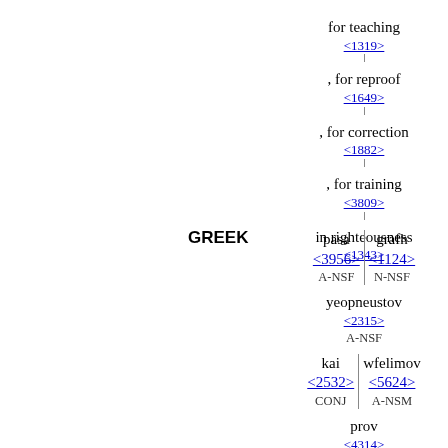for teaching <1319>
, for reproof <1649>
, for correction <1882>
, for training <3809>
in righteousness <1343>
GREEK
pasa <3956> A-NSF | grafh <1124> N-NSF
yeopneustov <2315> A-NSF
kai <2532> CONJ | wfelimov <5624> A-NSM
prov <4314> PREP